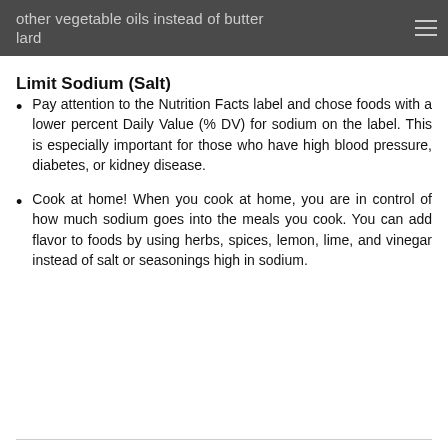other vegetable oils instead of butter lard
Limit Sodium (Salt)
Pay attention to the Nutrition Facts label and chose foods with a lower percent Daily Value (% DV) for sodium on the label. This is especially important for those who have high blood pressure, diabetes, or kidney disease.
Cook at home! When you cook at home, you are in control of how much sodium goes into the meals you cook. You can add flavor to foods by using herbs, spices, lemon, lime, and vinegar instead of salt or seasonings high in sodium.